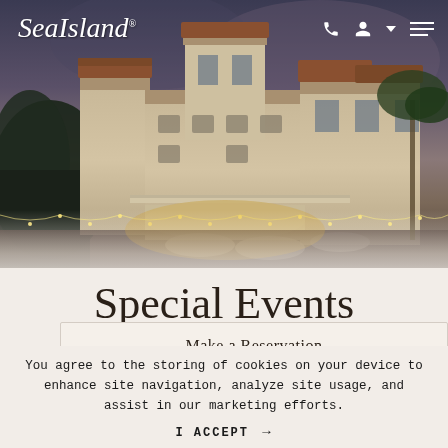[Figure (photo): Aerial dusk photo of Sea Island resort building with string lights, outdoor dining terrace, Mediterranean-style architecture with arched windows and balconies, lush trees and palm trees surrounding]
Special Events
Make a Reservation
You agree to the storing of cookies on your device to enhance site navigation, analyze site usage, and assist in our marketing efforts.
I ACCEPT →